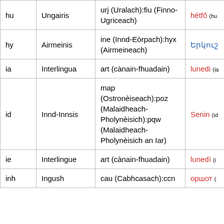| Code | Language | Family/Classification | Monday word |
| --- | --- | --- | --- |
| hu | Ungairis | urj (Uralach):fiu (Finno-Ugriceach) | hétfő (hu… |
| hy | Airmeinis | ine (Innd-Eòrpach):hyx (Airmeineach) | Երկուշ… |
| ia | Interlingua | art (cànain-fhuadain) | lunedi (ia… |
| id | Innd-Innsis | map (Ostronèiseach):poz (Malaidheach-Pholynèisich):pqw (Malaidheach-Pholynèisich an Iar) | Senin (id… |
| ie | Interlingue | art (cànain-fhuadain) | lunedí (i… |
| inh | Ingush | cau (Cabhcasach):ccn | оршот (… |